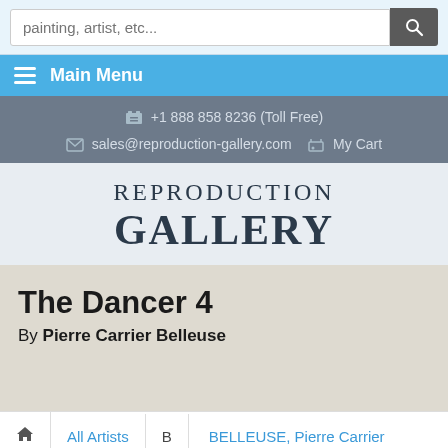painting, artist, etc...
Main Menu
+1 888 858 8236 (Toll Free)
sales@reproduction-gallery.com   My Cart
[Figure (logo): Reproduction Gallery logo with serif text]
The Dancer 4
By Pierre Carrier Belleuse
All Artists   B   BELLEUSE, Pierre Carrier
The Dancer 4